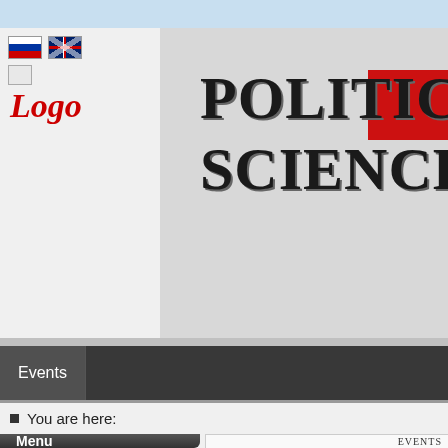[Figure (screenshot): Website screenshot of Political Science Issues journal. Shows browser chrome bar at top, flag icons (Russian and UK flags), Logo text in red italic, large banner with 'POLITICAL SCIENCE ISSUES' text partially visible, dark navigation bar with 'Events' menu item, breadcrumb showing 'You are here:', Menu button and Events panel at bottom.]
Logo
POLITICAL SCIENCE ISSUES
Events
You are here:
Menu
EVENTS